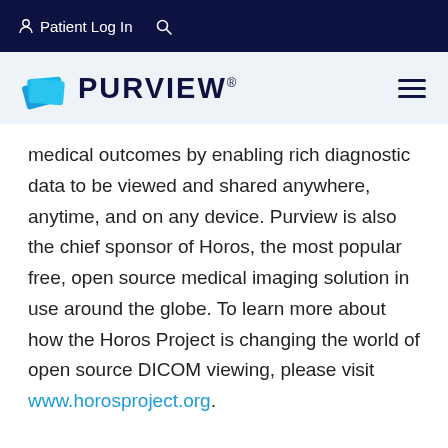Patient Log In  🔍
[Figure (logo): Purview logo with blue layered card icons and PURVIEW® wordmark in dark navy]
medical outcomes by enabling rich diagnostic data to be viewed and shared anywhere, anytime, and on any device. Purview is also the chief sponsor of Horos, the most popular free, open source medical imaging solution in use around the globe. To learn more about how the Horos Project is changing the world of open source DICOM viewing, please visit www.horosproject.org.